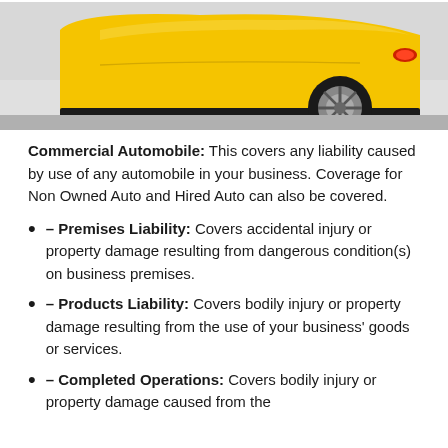[Figure (photo): Close-up photo of a yellow sports car showing the side panel and rear wheel on a gray road surface]
Commercial Automobile: This covers any liability caused by use of any automobile in your business. Coverage for Non Owned Auto and Hired Auto can also be covered.
– Premises Liability: Covers accidental injury or property damage resulting from dangerous condition(s) on business premises.
– Products Liability: Covers bodily injury or property damage resulting from the use of your business' goods or services.
– Completed Operations: Covers bodily injury or property damage caused from the